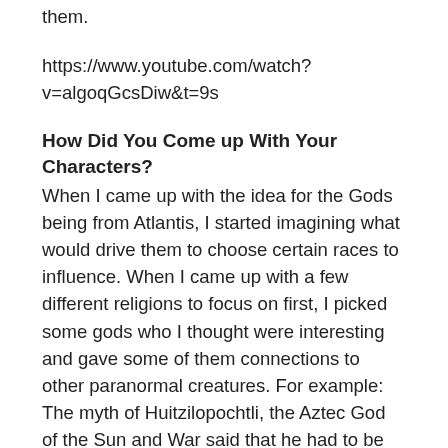them.
https://www.youtube.com/watch?v=algoqGcsDiw&t=9s
How Did You Come up With Your Characters?
When I came up with the idea for the Gods being from Atlantis, I started imagining what would drive them to choose certain races to influence. When I came up with a few different religions to focus on first, I picked some gods who I thought were interesting and gave some of them connections to other paranormal creatures. For example: The myth of Huitzilopochtli, the Aztec God of the Sun and War said that he had to be drenched in blood when he returned from a battle, in order to cool